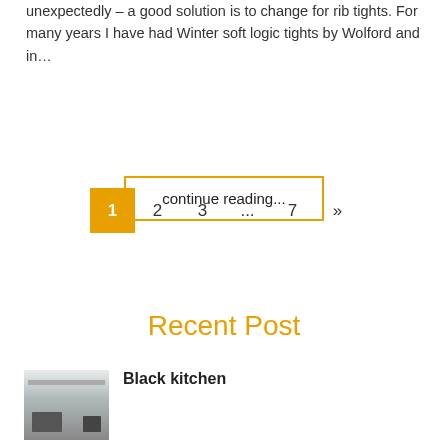unexpectedly – a good solution is to change for rib tights. For many years I have had Winter soft logic tights by Wolford and in…
continue reading...
1  2  3  ...  7  »
Recent Post
Black kitchen